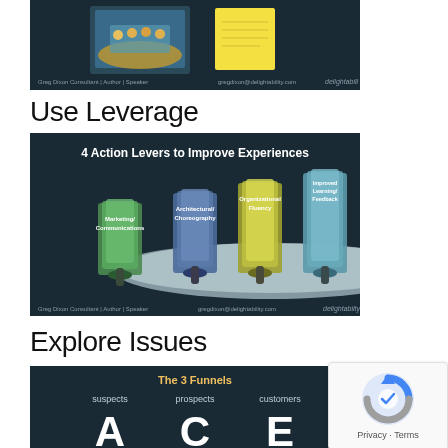[Figure (screenshot): Partial screenshot of a dark-themed presentation slide showing images (boat/rafting photo and yellow sticky note) at the top, with footer text: 'Greg Dixon Consultant | Author | Speaker', 'gregdixon@delightability.com', 'delightability']
Use Leverage
[Figure (infographic): Dark-themed slide titled '4 Action Levers to Improve Experiences' showing an oval platform with 4 sets of lever mechanisms in green, blue, yellow, and light blue colors, labeled: 'Marketing/Communications', 'Architectural/Choreography', 'Organizational Fluency', 'Improved Learning/Feedback'. Footer: 'Greg Dixon Consultant | Author | Speaker', 'gregdixon@delightability.com', 'delightability']
Explore Issues
[Figure (infographic): Dark-themed slide titled 'The 3 Funnels' showing three columns labeled 'suspects', 'prospects', 'customers' with large letters A, C, E below. Partially visible at bottom of page.]
[Figure (logo): reCAPTCHA widget showing the Google reCAPTCHA icon (circular arrows logo) with 'Privacy · Terms' text below]